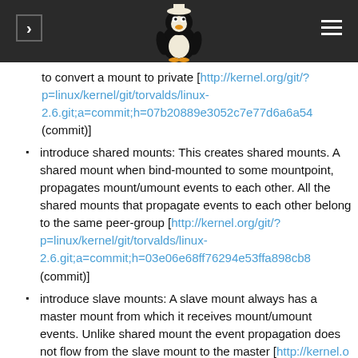[Figure (illustration): Dark navigation header bar with a Linux Tux penguin mascot logo in the center, a right-arrow navigation button on the left, and a hamburger menu icon on the right]
to convert a mount to private [http://kernel.org/git/?p=linux/kernel/git/torvalds/linux-2.6.git;a=commit;h=07b20889e3052c7e77d6a6a54... (commit)]
introduce shared mounts: This creates shared mounts. A shared mount when bind-mounted to some mountpoint, propagates mount/umount events to each other. All the shared mounts that propagate events to each other belong to the same peer-group [http://kernel.org/git/?p=linux/kernel/git/torvalds/linux-2.6.git;a=commit;h=03e06e68ff76294e53ffa898cb8... (commit)]
introduce slave mounts: A slave mount always has a master mount from which it receives mount/umount events. Unlike shared mount the event propagation does not flow from the slave mount to the master [http://kernel.org/git/?p=linux/kernel/git/torvalds/linux-